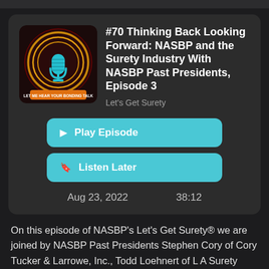[Figure (logo): Let's Get Surety podcast logo — dark circular badge with microphone, orange/gold rings, cyan microphone graphic, orange banner reading LET ME HEAR YOUR BONDING TALK]
#70 Thinking Back Looking Forward: NASBP and the Surety Industry With NASBP Past Presidents, Episode 3
Let's Get Surety
▶ Play Episode
🔖 Listen Later
Aug 23, 2022     38:12
On this episode of NASBP's Let's Get Surety® we are joined by NASBP Past Presidents Stephen Cory of Cory Tucker & Larrowe, Inc., Todd Loehnert of L A Surety Solutions - A Division of Alliant Insurance